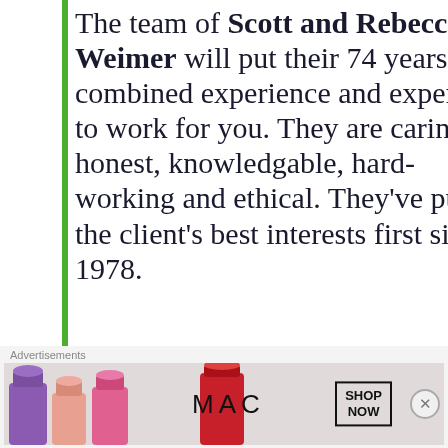The team of Scott and Rebecca Weimer will put their 74 years of combined experience and expertise to work for you. They are caring, honest, knowledgable, hard-working and ethical. They've put the client's best interests first since 1978.
They offer diversified real estate sales and services with the
[Figure (logo): REALTOR logo - blue square with white italic R, text REALTOR below]
[Figure (logo): Affiliation triangle/mountain logo]
Advertisements
[Figure (other): MAC cosmetics advertisement banner showing lipsticks and SHOP NOW button]